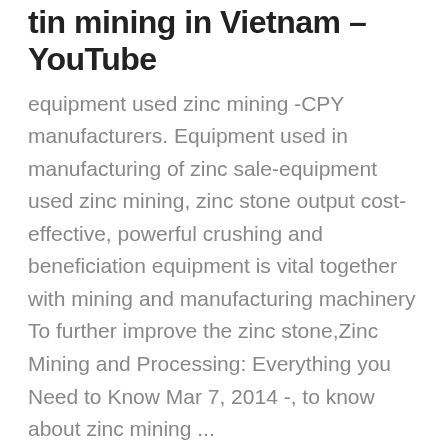tin mining in Vietnam - YouTube
equipment used zinc mining -CPY manufacturers. Equipment used in manufacturing of zinc sale-equipment used zinc mining, zinc stone output cost-effective, powerful crushing and beneficiation equipment is vital together with mining and manufacturing machinery To further improve the zinc stone,Zinc Mining and Processing: Everything you Need to Know Mar 7, 2014 -, to know about zinc mining ...
History | MITSUI MINING & SMELTING CO.,LTD
Zinc mining is the process by which mineral forms of the metal zinc are extracted from the earth through mining. A zinc mine is a mine that produces zinc ...